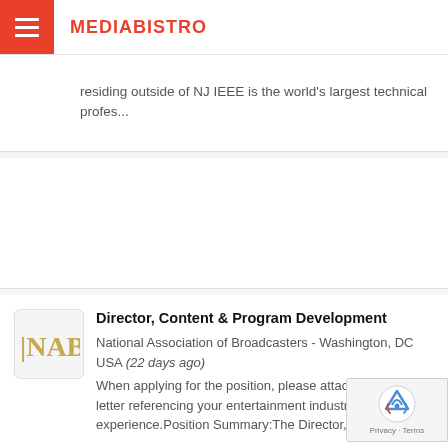MEDIABISTRO
residing outside of NJ IEEE is the world's largest technical profes...
Director, Content & Program Development
National Association of Broadcasters - Washington, DC USA (22 days ago) When applying for the position, please attach a cover letter referencing your entertainment industry experience.Position Summary:The Director, Cont...
Media Relations Associate